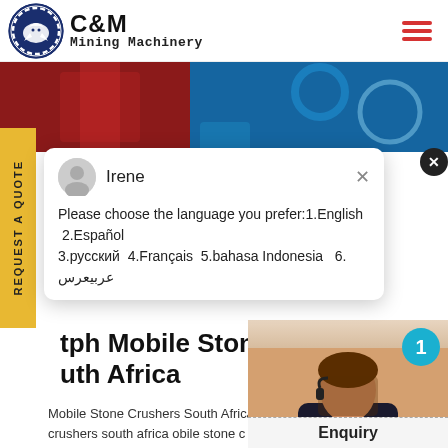[Figure (logo): C&M Mining Machinery logo with eagle in gear circle and text]
[Figure (photo): Banner image showing red and blue industrial mining machinery]
REQUEST A QUOTE
Irene
Please choose the language you prefer:1.English  2.Español  3.русский  4.Français  5.bahasa Indonesia   6. عربيعرس
tph Mobile Stone Crus outh Africa
Mobile Stone Crushers South Africa crushers south africa obile stone c africa less than 30tph for sale intro
[Figure (photo): Customer service agent with headset, with Click to Chat button and number badge 1]
Click to Chat
Enquiry